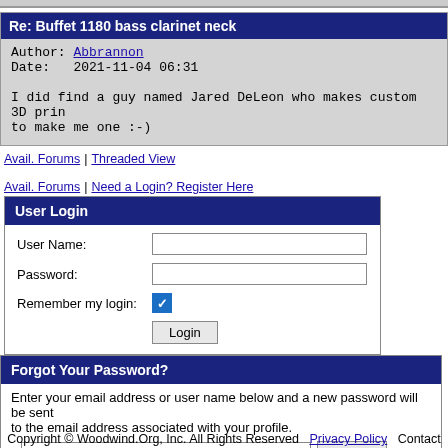Re: Buffet 1180 bass clarinet neck
Author: Abbrannon
Date:   2021-11-04 06:31

I did find a guy named Jared DeLeon who makes custom 3D prin
to make me one :-)
Avail. Forums | Threaded View
Avail. Forums | Need a Login? Register Here
User Login
User Name:
Password:
Remember my login:
Login
Forgot Your Password?
Enter your email address or user name below and a new password will be sent to the email address associated with your profile.
Submit
Copyright © Woodwind.Org, Inc. All Rights Reserved   Privacy Policy   Contact